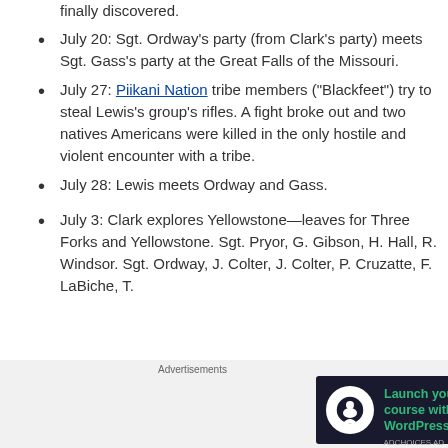finally discovered.
July 20: Sgt. Ordway's party (from Clark's party) meets Sgt. Gass's party at the Great Falls of the Missouri.
July 27: Piikani Nation tribe members ("Blackfeet") try to steal Lewis's group's rifles. A fight broke out and two natives Americans were killed in the only hostile and violent encounter with a tribe.
July 28: Lewis meets Ordway and Gass.
July 3: Clark explores Yellowstone—leaves for Three Forks and Yellowstone. Sgt. Pryor, G. Gibson, H. Hall, R. Windsor. Sgt. Ordway, J. Colter, J. Colter, P. Cruzatte, F. LaBiche, T.
Advertisements
[Figure (other): Advertisement banner: Launch your online course with WordPress — Learn More button]